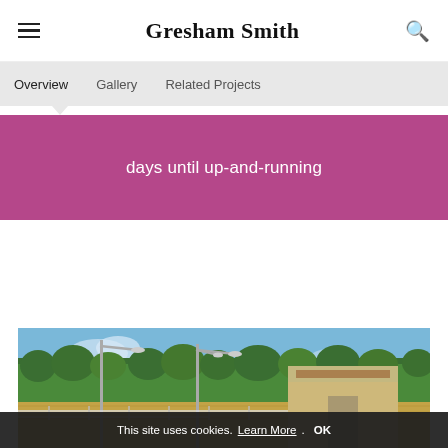Gresham Smith
Overview  Gallery  Related Projects
days until up-and-running
[Figure (photo): Flooded area showing a building partially submerged in floodwater with street lights and trees in the background under a blue sky]
This site uses cookies. Learn More. OK